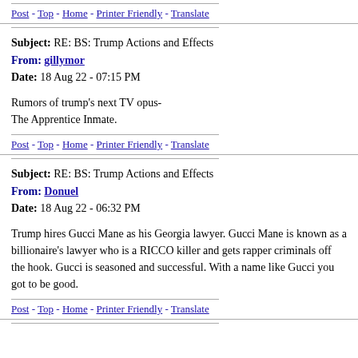Post - Top - Home - Printer Friendly - Translate
Subject: RE: BS: Trump Actions and Effects
From: gillymor
Date: 18 Aug 22 - 07:15 PM
Rumors of trump's next TV opus-
The Apprentice Inmate.
Post - Top - Home - Printer Friendly - Translate
Subject: RE: BS: Trump Actions and Effects
From: Donuel
Date: 18 Aug 22 - 06:32 PM
Trump hires Gucci Mane as his Georgia lawyer. Gucci Mane is known as a billionaire's lawyer who is a RICCO killer and gets rapper criminals off the hook. Gucci is seasoned and successful. With a name like Gucci you got to be good.
Post - Top - Home - Printer Friendly - Translate